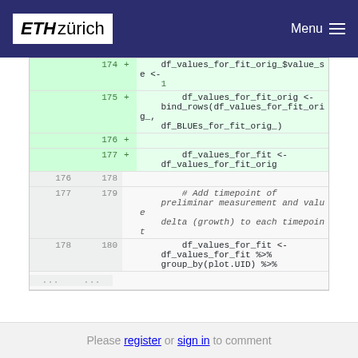ETH zürich | Menu
[Figure (screenshot): Code diff view showing R code additions and context lines. Added lines (174-177 new) show df_values_for_fit_orig $value_se assignment and bind_rows call. Context lines (176-180) show blank line, comment about adding timepoint, and df_values_for_fit pipe chain.]
Please register or sign in to comment